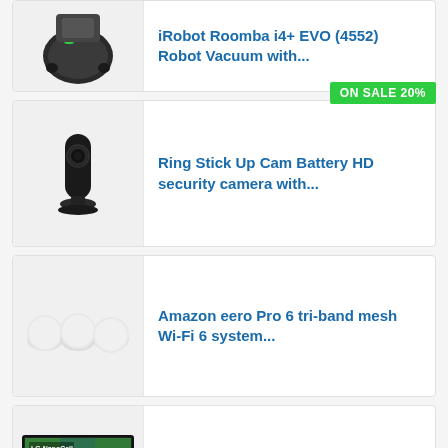[Figure (photo): iRobot Roomba i4+ EVO robot vacuum product image, partially visible at top]
iRobot Roomba i4+ EVO (4552) Robot Vacuum with...
ON SALE 20%
[Figure (photo): Ring Stick Up Cam Battery HD security camera, black cylindrical device on stand]
Ring Stick Up Cam Battery HD security camera with...
[Figure (photo): Amazon eero Pro 6 tri-band mesh Wi-Fi system, three white round devices]
Amazon eero Pro 6 tri-band mesh Wi-Fi 6 system...
[Figure (photo): LG NanoCell 80 Series 55 inch TV with colorful display]
LG NanoCell 80 Series 55” Alexa Built-in 4k...
Last update on 2022-08-29 / Affiliate links / Images from Amazon Product Advertising API